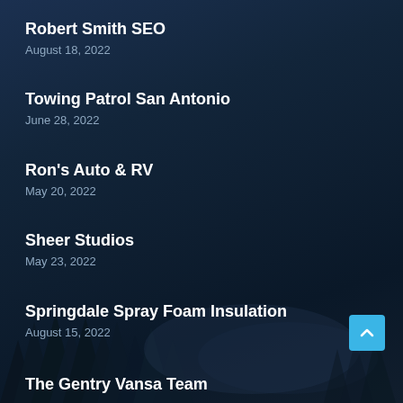Robert Smith SEO
August 18, 2022
Towing Patrol San Antonio
June 28, 2022
Ron’s Auto & RV
May 20, 2022
Sheer Studios
May 23, 2022
Springdale Spray Foam Insulation
August 15, 2022
The Gentry Vansa Team